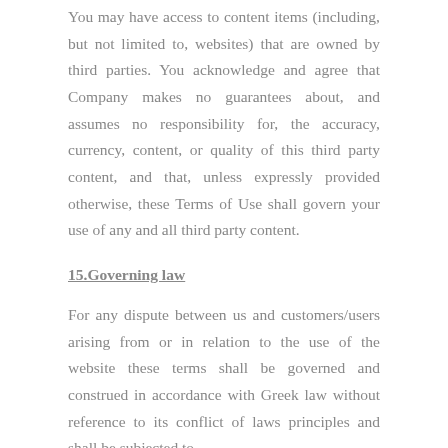You may have access to content items (including, but not limited to, websites) that are owned by third parties. You acknowledge and agree that Company makes no guarantees about, and assumes no responsibility for, the accuracy, currency, content, or quality of this third party content, and that, unless expressly provided otherwise, these Terms of Use shall govern your use of any and all third party content.
15.Governing law
For any dispute between us and customers/users arising from or in relation to the use of the website these terms shall be governed and construed in accordance with Greek law without reference to its conflict of laws principles and shall be subjected to